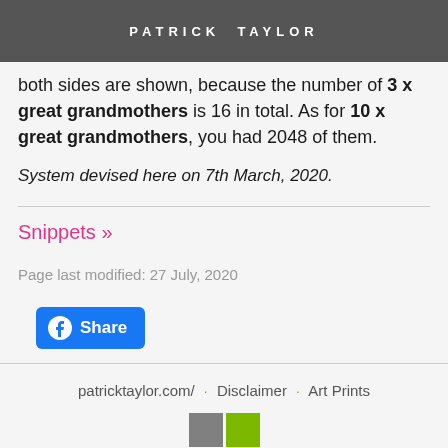PATRICK TAYLOR
shown, so 8/16, for example, would double to 16/16 if both sides are shown, because the number of 3 x great grandmothers is 16 in total. As for 10 x great grandmothers, you had 2048 of them.
System devised here on 7th March, 2020.
Snippets »
Page last modified: 27 July, 2020
[Figure (other): Facebook Share button]
patricktaylor.com/ · Disclaimer · Art Prints